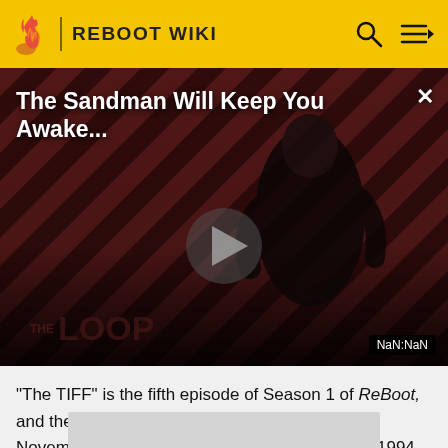REBOOT WIKI
[Figure (screenshot): Video player showing 'The Sandman Will Keep You Awake...' with dark diagonal striped background, a figure in black, THE LOOP branding, play button, and NaN:NaN timer badge]
"The TIFF" is the fifth episode of Season 1 of ReBoot, and the fifth episode overall. It originally aired on November 11, 1994 on ABC and November 26, 1994 on YTV.